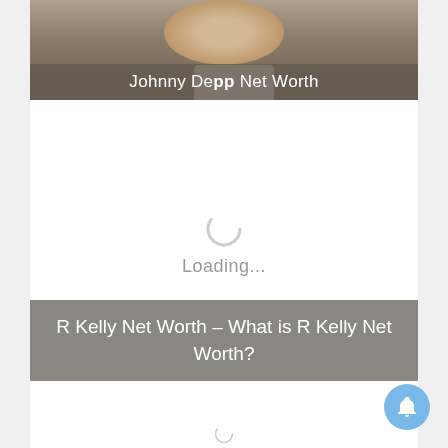[Figure (photo): Photo of Johnny Depp with overlay title 'Johnny Depp Net Worth']
Johnny Depp Net Worth
[Figure (infographic): Loading spinner with 'Loading...' text]
Loading...
R Kelly Net Worth – What is R Kelly Net Worth?